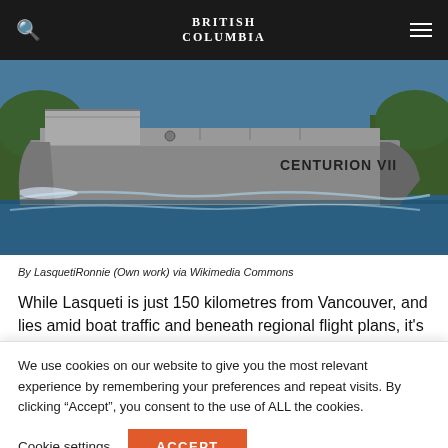BRITISH COLUMBIA
[Figure (photo): A barge named CENTURION VII travelling on blue water with forested hills in background]
By LasquetiRonnie (Own work) via Wikimedia Commons
While Lasqueti is just 150 kilometres from Vancouver, and lies amid boat traffic and beneath regional flight plans, it's
We use cookies on our website to give you the most relevant experience by remembering your preferences and repeat visits. By clicking “Accept”, you consent to the use of ALL the cookies.
Cookie settings  ACCEPT